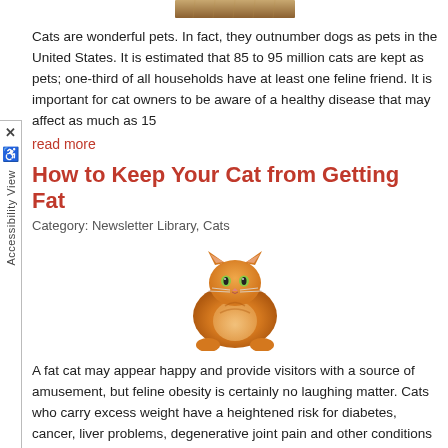[Figure (photo): Partial photo of a cat at the top of the page (cropped, only bottom portion visible)]
Cats are wonderful pets. In fact, they outnumber dogs as pets in the United States. It is estimated that 85 to 95 million cats are kept as pets; one-third of all households have at least one feline friend. It is important for cat owners to be aware of a healthy disease that may affect as much as 15
read more
How to Keep Your Cat from Getting Fat
Category: Newsletter Library, Cats
[Figure (photo): Photo of a large fluffy orange/ginger cat looking upward, sitting against a white background]
A fat cat may appear happy and provide visitors with a source of amusement, but feline obesity is certainly no laughing matter. Cats who carry excess weight have a heightened risk for diabetes, cancer, liver problems, degenerative joint pain and other conditions that could severely curtail its quality